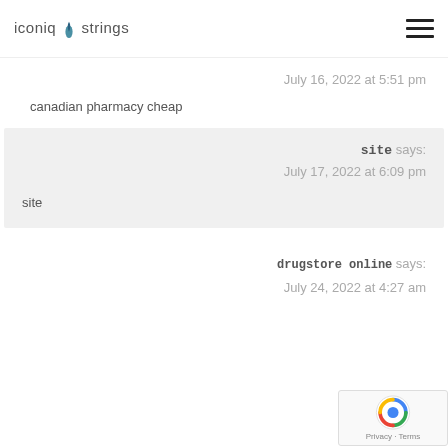iconiq strings
July 16, 2022 at 5:51 pm
canadian pharmacy cheap
site says: July 17, 2022 at 6:09 pm
site
drugstore online says: July 24, 2022 at 4:27 am